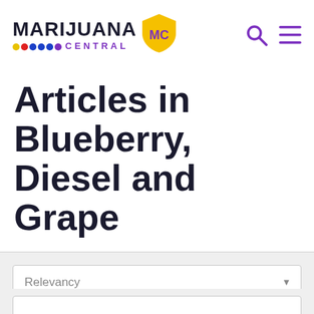Marijuana Central — navigation header with logo and search/menu icons
Articles in Blueberry, Diesel and Grape
Relevancy (sort dropdown)
Refine (button)